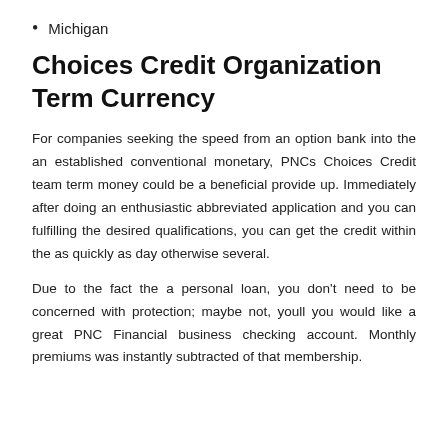Michigan
Choices Credit Organization Term Currency
For companies seeking the speed from an option bank into the an established conventional monetary, PNCs Choices Credit team term money could be a beneficial provide up. Immediately after doing an enthusiastic abbreviated application and you can fulfilling the desired qualifications, you can get the credit within the as quickly as day otherwise several.
Due to the fact the a personal loan, you don’t need to be concerned with protection; maybe not, youll you would like a great PNC Financial business checking account. Monthly premiums was instantly subtracted of that membership.